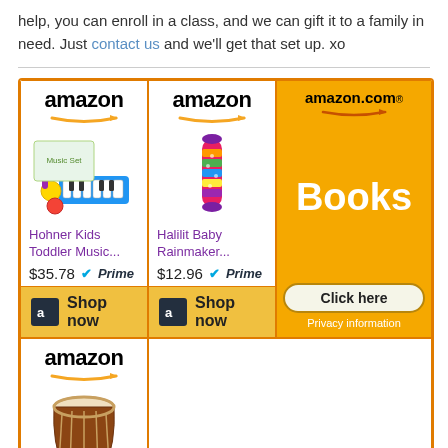help, you can enroll in a class, and we can gift it to a family in need. Just contact us and we'll get that set up. xo
[Figure (screenshot): Amazon product advertisement grid showing three panels: Hohner Kids Toddler Music toy at $35.78 with Prime, Halilit Baby Rainmaker at $12.96 with Prime, and Amazon.com Books orange banner with Click here button. Bottom row shows another Amazon panel with a djembe drum product.]